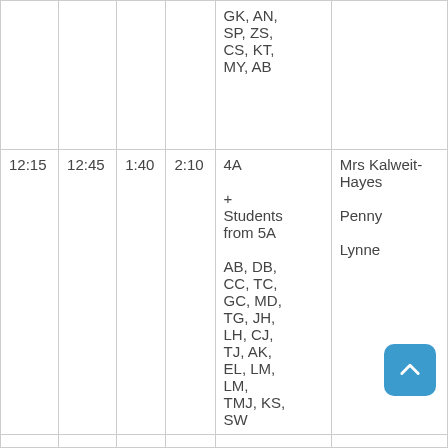|  |  |  |  |  |  |
| --- | --- | --- | --- | --- | --- |
|  |  |  |  | GK, AN, SP, ZS, CS, KT, MY, AB |  |
| 12:15 | 12:45 | 1:40 | 2:10 | 4A
+ Students from 5A
AB, DB, CC, TC, GC, MD, TG, JH, LH, CJ, TJ, AK, EL, LM, LM, TMJ, KS, SW | Mrs Kalweit-Hayes
Penny
Lynne |
|  |  |  |  |  |  |